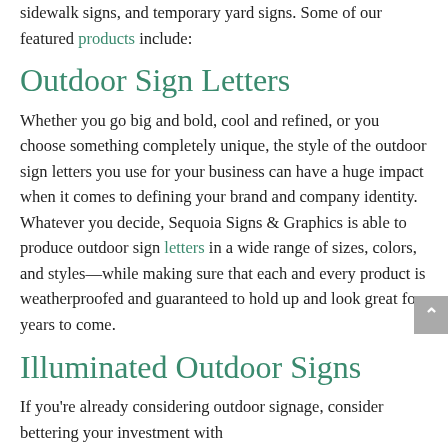sidewalk signs, and temporary yard signs. Some of our featured products include:
Outdoor Sign Letters
Whether you go big and bold, cool and refined, or you choose something completely unique, the style of the outdoor sign letters you use for your business can have a huge impact when it comes to defining your brand and company identity. Whatever you decide, Sequoia Signs & Graphics is able to produce outdoor sign letters in a wide range of sizes, colors, and styles—while making sure that each and every product is weatherproofed and guaranteed to hold up and look great for years to come.
Illuminated Outdoor Signs
If you're already considering outdoor signage, consider bettering your investment with